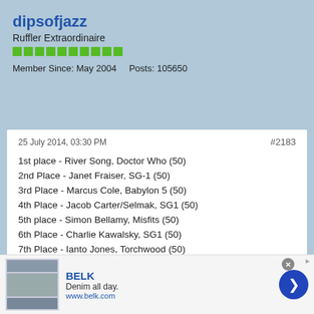dipsofjazz
Ruffler Extraordinaire
Member Since: May 2004   Posts: 105650
25 July 2014, 03:30 PM
#2183
1st place - River Song, Doctor Who (50)
2nd Place - Janet Fraiser, SG-1 (50)
3rd Place - Marcus Cole, Babylon 5 (50)
4th Place - Jacob Carter/Selmak, SG1 (50)
5th place - Simon Bellamy, Misfits (50)
6th Place - Charlie Kawalsky, SG1 (50)
7th Place - Ianto Jones, Torchwood (50)
8th Place - Jadzia Dax, Star Trek DS9 (50)
9th Place - Shepherd Book, Serenity (50)
10th Place - Carson Beckett, SGA (50)
11th Place - John Mitchell, Being Human (50)
12th Place - President Laura Roslin, BSG (50)
[Figure (screenshot): BELK advertisement banner: denim all day, www.belk.com]